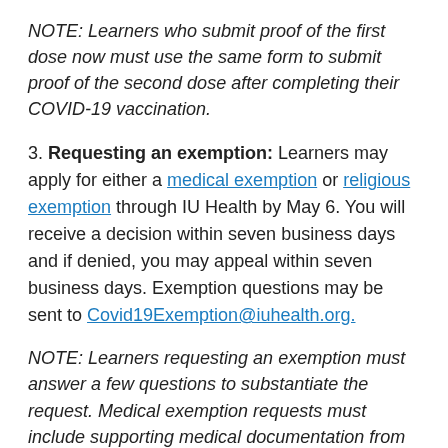NOTE: Learners who submit proof of the first dose now must use the same form to submit proof of the second dose after completing their COVID-19 vaccination.
3. Requesting an exemption: Learners may apply for either a medical exemption or religious exemption through IU Health by May 6. You will receive a decision within seven business days and if denied, you may appeal within seven business days. Exemption questions may be sent to Covid19Exemption@iuhealth.org.
NOTE: Learners requesting an exemption must answer a few questions to substantiate the request. Medical exemption requests must include supporting medical documentation from their provider.